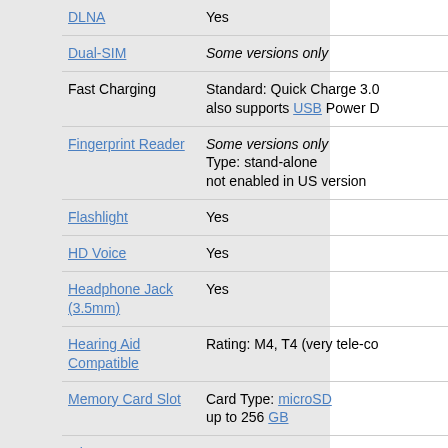| Feature | Details |
| --- | --- |
| DLNA | Yes |
| Dual-SIM | Some versions only |
| Fast Charging | Standard: Quick Charge 3.0 also supports USB Power D |
| Fingerprint Reader | Some versions only
Type: stand-alone
not enabled in US version |
| Flashlight | Yes |
| HD Voice | Yes |
| Headphone Jack (3.5mm) | Yes |
| Hearing Aid Compatible | Rating: M4, T4 (very tele-co |
| Memory Card Slot | Card Type: microSD
up to 256 GB |
| Miracast | Yes |
| NFC | Yes |
| Side Keys | volume, lock, camera on rig |
| Speaker Phone | Yes |
| Stereo Speakers | Yes |